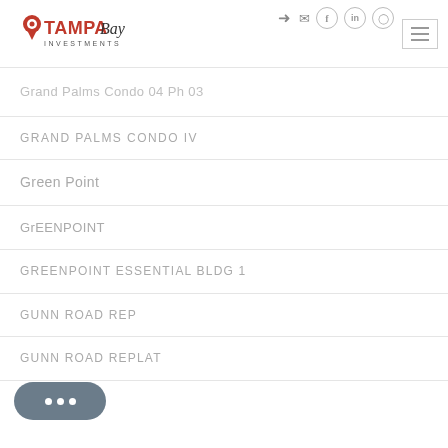Tampa Bay Investments
Grand Palms Condo 04 Ph 03
GRAND PALMS CONDO IV
Green Point
GrEENPOINT
GREENPOINT ESSENTIAL BLDG 1
GUNN ROAD REP
GUNN ROAD REPLAT